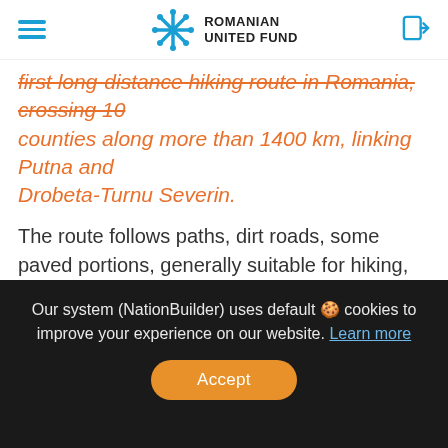Romanian United Fund
first long-distance hiking route in Romania, crossing 10 counties along more than 1400 km, linking Putna and Drobeta-Turnu Severin.
The route follows paths, dirt roads, some paved portions, generally suitable for hiking, cycling, or horse riding. The aim is, first, to reconfigure tourism in Romania, especially in rural areas, by promoting
Our system (NationBuilder) uses default 🍪 cookies to improve your experience on our website. Learn more
Accept